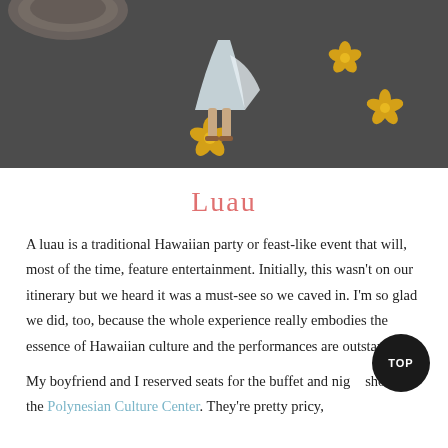[Figure (photo): A person in a light blue/white flowing skirt standing on a dark paved surface with yellow flower designs painted on it. The top of a circular stone structure is visible at the upper left.]
Luau
A luau is a traditional Hawaiian party or feast-like event that will, most of the time, feature entertainment. Initially, this wasn't on our itinerary but we heard it was a must-see so we caved in. I'm so glad we did, too, because the whole experience really embodies the essence of Hawaiian culture and the performances are outstanding!
My boyfriend and I reserved seats for the buffet and night show at the Polynesian Culture Center. They're pretty pricy,